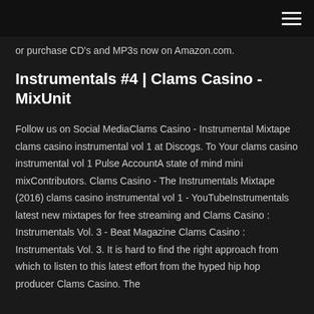or purchase CD's and MP3s now on Amazon.com.
Instrumentals #4 | Clams Casino - MixUnit
Follow us on Social MediaClams Casino - Instrumental Mixtape clams casino instrumental vol 1 at Discogs. To Your clams casino instrumental vol 1 Pulse AccountA state of mind mini mixContributors. Clams Casino - The Instrumentals Mixtape (2016) clams casino instrumental vol 1 - YouTubeInstrumentals latest new mixtapes for free streaming and Clams Casino : Instrumentals Vol. 3 - Beat Magazine Clams Casino : Instrumentals Vol. 3. It is hard to find the right approach from which to listen to this latest effort from the hyped hip hop producer Clams Casino. The